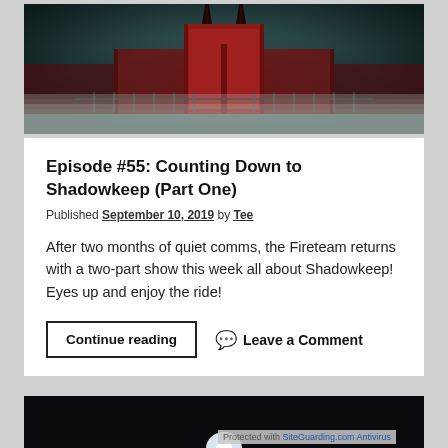[Figure (illustration): Dark fantasy illustration of a large red fortress/gate with black spires in a misty, icy landscape — the Shadowkeep game art]
Episode #55: Counting Down to Shadowkeep (Part One)
Published September 10, 2019 by Tee
After two months of quiet comms, the Fireteam returns with a two-part show this week all about Shadowkeep! Eyes up and enjoy the ride!
Continue reading   Leave a Comment
[Figure (screenshot): Partial bottom image strip showing a dark scene with a bright circular light, partially visible]